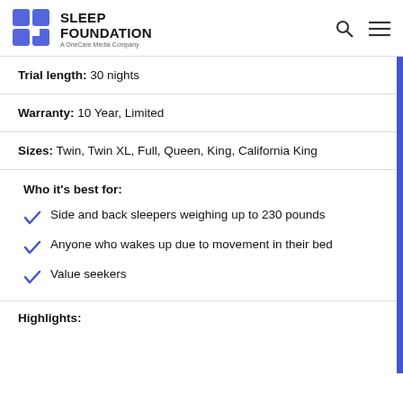Sleep Foundation — A OneCare Media Company
Trial length: 30 nights
Warranty: 10 Year, Limited
Sizes: Twin, Twin XL, Full, Queen, King, California King
Who it's best for:
Side and back sleepers weighing up to 230 pounds
Anyone who wakes up due to movement in their bed
Value seekers
Highlights: